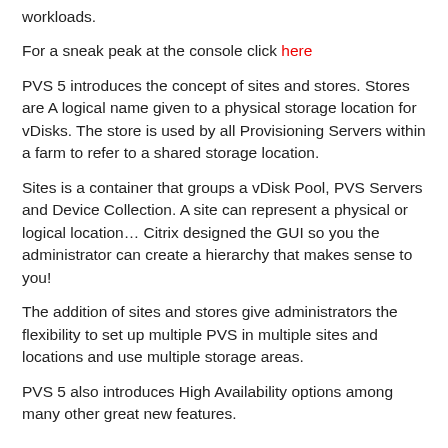workloads.
For a sneak peak at the console click here
PVS 5 introduces the concept of sites and stores. Stores are A logical name given to a physical storage location for vDisks. The store is used by all Provisioning Servers within a farm to refer to a shared storage location.
Sites is a container that groups a vDisk Pool, PVS Servers and Device Collection. A site can represent a physical or logical location… Citrix designed the GUI so you the administrator can create a hierarchy that makes sense to you!
The addition of sites and stores give administrators the flexibility to set up multiple PVS in multiple sites and locations and use multiple storage areas.
PVS 5 also introduces High Availability options among many other great new features.